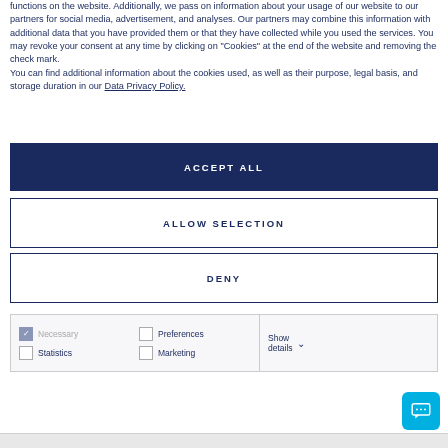functions on the website. Additionally, we pass on information about your usage of our website to our partners for social media, advertisement, and analyses. Our partners may combine this information with additional data that you have provided them or that they have collected while you used the services. You may revoke your consent at any time by clicking on "Cookies" at the end of the website and removing the check mark.
You can find additional information about the cookies used, as well as their purpose, legal basis, and storage duration in our Data Privacy Policy.
ACCEPT ALL
ALLOW SELECTION
DENY
Necessary  Preferences  Statistics  Marketing  Show details